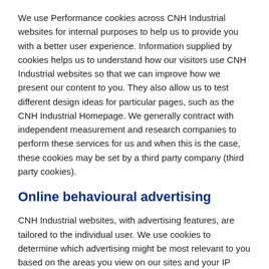We use Performance cookies across CNH Industrial websites for internal purposes to help us to provide you with a better user experience. Information supplied by cookies helps us to understand how our visitors use CNH Industrial websites so that we can improve how we present our content to you. They also allow us to test different design ideas for particular pages, such as the CNH Industrial Homepage. We generally contract with independent measurement and research companies to perform these services for us and when this is the case, these cookies may be set by a third party company (third party cookies).
Online behavioural advertising
CNH Industrial websites, with advertising features, are tailored to the individual user. We use cookies to determine which advertising might be most relevant to you based on the areas you view on our sites and your IP address geo-location. The table below provides links to the individual ad serving partners' opt-out mechanisms.